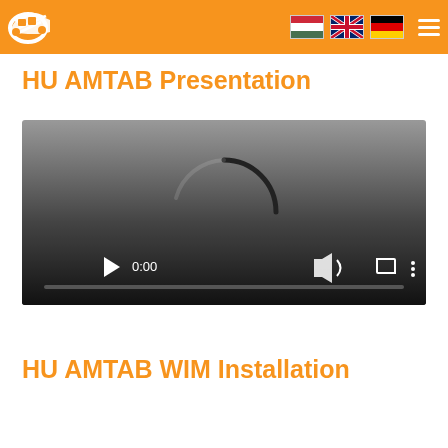HU AMTAB — navigation header with logo, language flags, hamburger menu
HU AMTAB Presentation
[Figure (screenshot): Video player in loading state showing a spinning arc indicator, playback controls at bottom with play button, time 0:00, volume, fullscreen, and menu icons, and a progress bar]
HU AMTAB WIM Installation